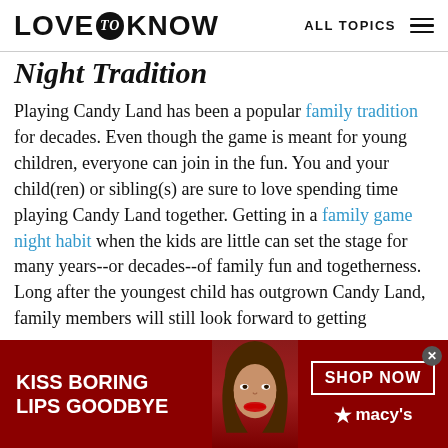LOVE to KNOW   ALL TOPICS
Night Tradition
Playing Candy Land has been a popular family tradition for decades. Even though the game is meant for young children, everyone can join in the fun. You and your child(ren) or sibling(s) are sure to love spending time playing Candy Land together. Getting in a family game night habit when the kids are little can set the stage for many years--or decades--of family fun and togetherness. Long after the youngest child has outgrown Candy Land, family members will still look forward to getting
[Figure (other): Advertisement banner for Macy's lipstick promotion. Dark red background with woman's face wearing red lipstick. Text reads: KISS BORING LIPS GOODBYE. SHOP NOW. Macy's logo with star.]